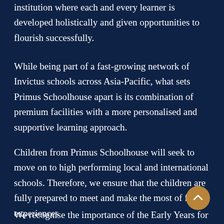institution where each and every learner is developed holistically and given opportunities to flourish successfully.
While being part of a fast-growing network of Invictus schools across Asia-Pacific, what sets Primus Schoolhouse apart is its combination of premium facilities with a more personalised and supportive learning approach.
Children from Primus Schoolhouse will seek to move on to high performing local and international schools. Therefore, we ensure that the children are fully prepared to meet and make the most of future experiences
We recognise the importance of the Early Years for